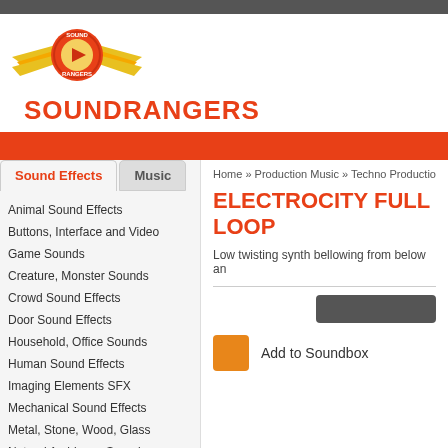[Figure (logo): Sound Rangers logo with red circle, play button, and yellow wings]
SOUNDRANGERS
Sound Effects | Music | Home » Production Music » Techno Production Music
ELECTROCITY FULL LOOP
Low twisting synth bellowing from below an
Animal Sound Effects
Buttons, Interface and Video
Game Sounds
Creature, Monster Sounds
Crowd Sound Effects
Door Sound Effects
Household, Office Sounds
Human Sound Effects
Imaging Elements SFX
Mechanical Sound Effects
Metal, Stone, Wood, Glass
Natural Ambience Sounds
Sci-Fi, Electronic, Fantasy
Add to Soundbox